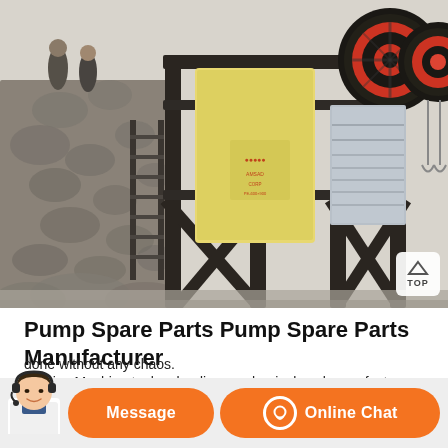[Figure (photo): Industrial jaw crusher or mining machine mounted on a heavy steel frame structure, with large black flywheel visible at top, set outdoors on rocky terrain with workers visible in background. A 'TOP' navigation button is overlaid in the bottom-right corner of the image.]
Pump Spare Parts Pump Spare Parts Manufacturer
Ambica Machine tools a leading mechanical seal manufacturer in India, who has all the parts a pump needs. It was a one stop shop for me and done without any chaos.
[Figure (illustration): Customer service chat bar at bottom of page with an avatar of a woman with headset on the left, and two orange rounded buttons: 'Message' and 'Online Chat' with headset icon.]